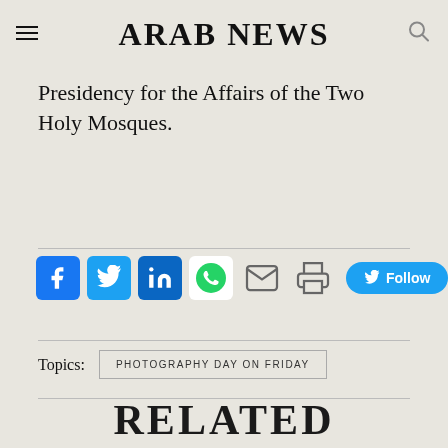ARAB NEWS
Presidency for the Affairs of the Two Holy Mosques.
[Figure (infographic): Social media sharing icons row: Facebook, Twitter, LinkedIn, WhatsApp, Email, Print, and a Twitter Follow button]
Topics: PHOTOGRAPHY DAY ON FRIDAY
RELATED